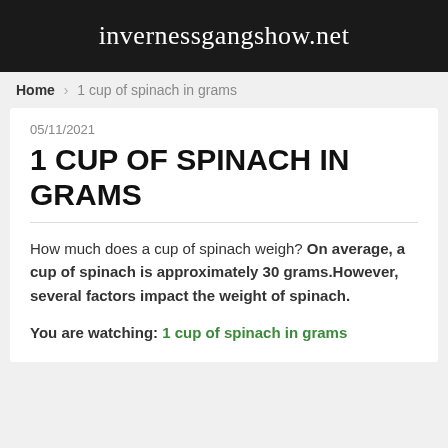invernessgangshow.net
Home › 1 cup of spinach in grams
05/11/2021
1 CUP OF SPINACH IN GRAMS
How much does a cup of spinach weigh? On average, a cup of spinach is approximately 30 grams.However, several factors impact the weight of spinach.
You are watching: 1 cup of spinach in grams